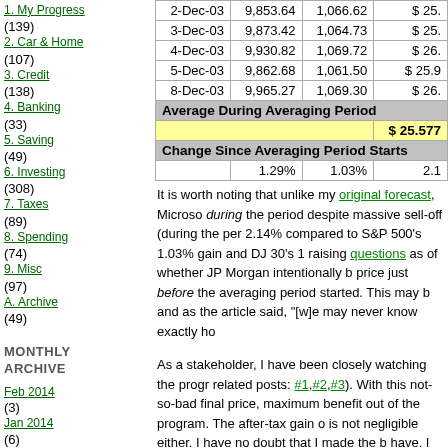1. My Progress (139)
2. Car & Home (107)
3. Credit (138)
4. Banking (33)
5. Saving (49)
6. Investing (308)
7. Taxes (89)
8. Spending (74)
9. Misc (97)
A. Archive (49)
MONTHLY ARCHIVE
Feb 2014 (3)
Jan 2014 (6)
Jan 2012 (1)
Apr 2011 (1)
Mar 2011 (1)
Feb 2011 (1)
Jan 2011 (1)
Dec 2010 (1)
Oct 2010 (1)
Sep 2010 (1)
Aug 2010 (1)
Jul 2010 (1)
Jun 2010 (1)
May 2010 (1)
Apr 2010 (1)
Mar 2010 (6)
Feb 2010 (2)
Jan 2010 (7)
Dec 2009 (3)
Feb 2009 (4)
Jan 2009 (8)
Dec 2008 (1)
Jun 2008 (2)
May 2008 (2)
Apr 2008 (5)
Feb 2008 (3)
Jan 2008 (15)
Dec 2007 (32)
| Date | DJ 30 | S&P 500 | $ |
| --- | --- | --- | --- |
| 2-Dec-03 | 9,853.64 | 1,066.62 | $ 25. |
| 3-Dec-03 | 9,873.42 | 1,064.73 | $ 25. |
| 4-Dec-03 | 9,930.82 | 1,069.72 | $ 26. |
| 5-Dec-03 | 9,862.68 | 1,061.50 | $ 25.9 |
| 8-Dec-03 | 9,965.27 | 1,069.30 | $ 26. |
| Average During Averaging Period |  |  |  |
|  |  |  | $ 25.577 |
| Change Since Averaging Period Starts |  |  |  |
|  | 1.29% | 1.03% | 2.1 |
It is worth noting that unlike my original forecast, Microsoft... during the period despite massive sell-off (during the per... 2.14% compared to S&P 500's 1.03% gain and DJ 30's ... raising questions as of whether JP Morgan intentionally b... price just before the averaging period started. This may b... and as the article said, "[w]e may never know exactly ho...
As a stakeholder, I have been closely watching the progr... related posts: #1,#2,#3). With this not-so-bad final price,... maximum benefit out of the program. The after-tax gain o... is not negligible either. I have no doubt that I made the b... have. I still have strong belief in the three considerations... previous post:
1) Microsoft stock price needs to climb beyond its intrins... profitable (and I'm a value investor)
2) I have diversified my portfolio by participating in this...